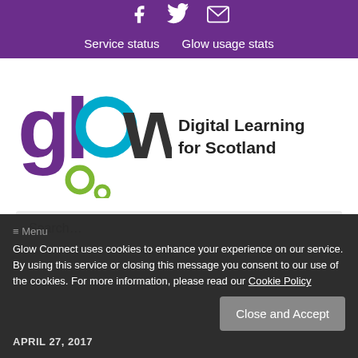Social icons: Facebook, Twitter, Email
Service status   Glow usage stats
[Figure (logo): Glow Digital Learning for Scotland logo with colorful circular letter marks in purple, teal, and green]
Search...
Glow Connect uses cookies to enhance your experience on our service. By using this service or closing this message you consent to our use of the cookies. For more information, please read our Cookie Policy
Close and Accept
≡ Menu
APRIL 27, 2017